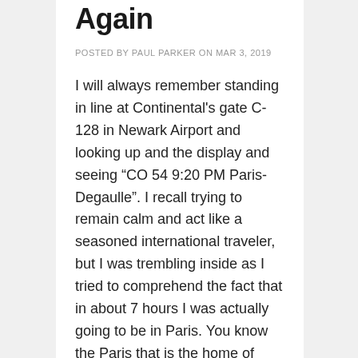Again
POSTED BY PAUL PARKER ON MAR 3, 2019
I will always remember standing in line at Continental's gate C-128 in Newark Airport and looking up and the display and seeing “CO 54 9:20 PM Paris-Degaulle”.  I recall trying to remain calm and act like a seasoned international traveler, but I was trembling inside as I tried to comprehend the fact that in about 7 hours I was actually going to be in Paris. You know the Paris that is the home of the...